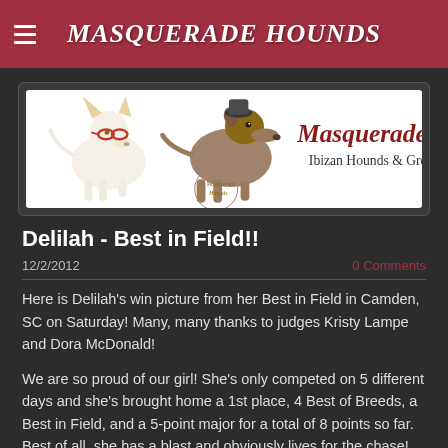MASQUERADE HOUNDS
[Figure (illustration): Masquerade Hounds website banner showing two dog illustrations (an Ibizan Hound with red goggles and a Greyhound) alongside the text 'Masquerade Hounds - Ibizan Hounds & Greyhounds']
Delilah - Best in Field!!
12/2/2012
0 Comments
Here is Delilah's win picture from her Best in Field in Camden, SC on Saturday! Many, many thanks to judges Kristy Lampe and Dora McDonald!
We are so proud of our girl! She's only competed on 5 different days and she's brought home a 1st place, 4 Best of Breeds, a Best in Field, and a 5-point major for a total of 8 points so far. Best of all, she has a blast and obviously lives for the chase!